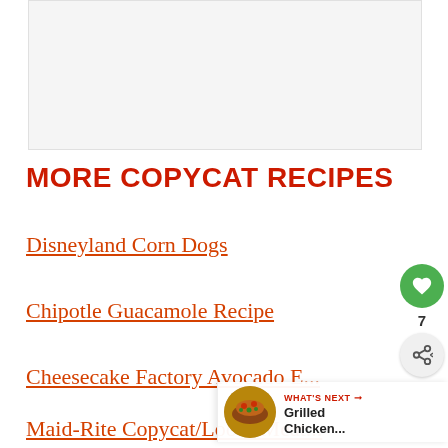[Figure (photo): Large rectangular image placeholder at the top of the page, light gray background]
MORE COPYCAT RECIPES
Disneyland Corn Dogs
Chipotle Guacamole Recipe
Cheesecake Factory Avocado E...
Maid-Rite Copycat/Loose Meat...